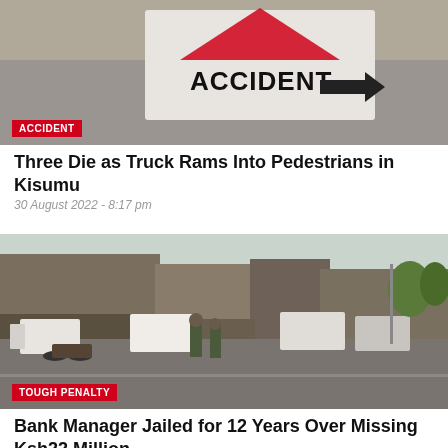[Figure (photo): Road accident sign with arrow pointing right, seen from above on road surface]
Three Die as Truck Rams Into Pedestrians in Kisumu
30 August 2022 - 8:17 pm
[Figure (photo): Street scene with soldiers/police and motorcycles on a town road, buildings in background]
Bank Manager Jailed for 12 Years Over Missing Ksh22 Million
30 August 2022 - 8:12 pm
[Figure (photo): Partial view of person(s), bottom of page, cropped]